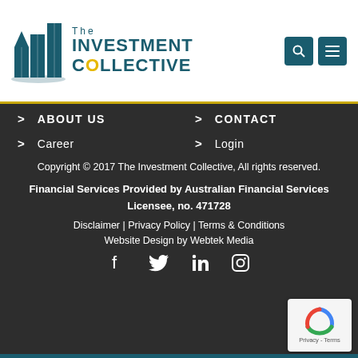[Figure (logo): The Investment Collective logo with teal building graphic and yellow dot in 'collective']
> ABOUT US
> CONTACT
> Career
> Login
Copyright © 2017 The Investment Collective, All rights reserved.
Financial Services Provided by Australian Financial Services Licensee, no. 471728
Disclaimer | Privacy Policy | Terms & Conditions
Website Design by Webtek Media
[Figure (other): Social media icons: Facebook, Twitter, LinkedIn, Instagram]
[Figure (other): Google reCAPTCHA badge - Privacy - Terms]